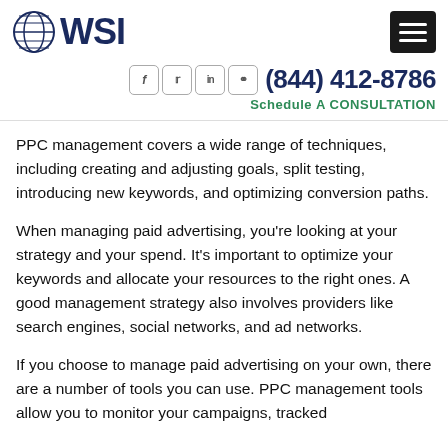WSI logo and navigation header
(844) 412-8786
Schedule A CONSULTATION
PPC management covers a wide range of techniques, including creating and adjusting goals, split testing, introducing new keywords, and optimizing conversion paths.
When managing paid advertising, you're looking at your strategy and your spend. It's important to optimize your keywords and allocate your resources to the right ones. A good management strategy also involves providers like search engines, social networks, and ad networks.
If you choose to manage paid advertising on your own, there are a number of tools you can use. PPC management tools allow you to monitor your campaigns, tracked